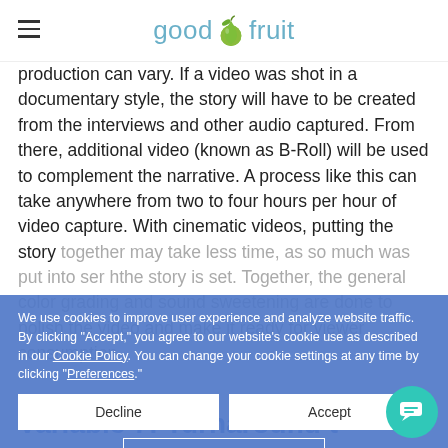good fruit
production can vary. If a video was shot in a documentary style, the story will have to be created from the interviews and other audio captured. From there, additional video (known as B-Roll) will be used to complement the narrative. A process like this can take anywhere from two to four hours per hour of video capture. With cinematic videos, putting the story together may take less time, as so much was put into s...er h...the story is set. Together, the general color grading and sound sweetening are done to polish the video and make it ready for viewer consumption.
We use cookies to improve user experience and analyze website traffic. By clicking "Accept," you agree to our website's cookie use as described in our Cookie Policy. You can change your cookie settings at any time by clicking "Preferences."
Variable 7: Turnaround t...